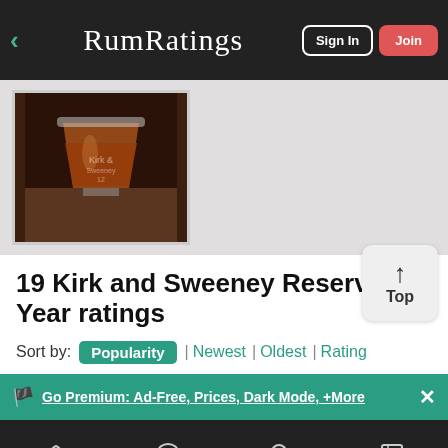RumRatings — Sign In | Join
[Figure (photo): Photo of a glass of dark rum (Kirk and Sweeney Reserva 12-Year) on a table]
19 Kirk and Sweeney Reserva 12-Year ratings
Sort by: Popularity | Newest | Oldest | Rating
Go Premium: Ad-Free, Prices, Dark Mode, +More
Rum | Discuss | Search | Stream